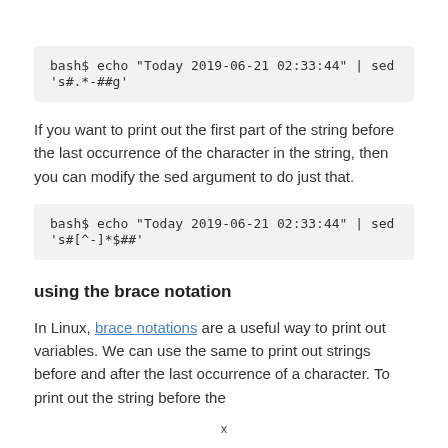bash$ echo "Today 2019-06-21 02:33:44" | sed 's#.*-##g'
If you want to print out the first part of the string before the last occurrence of the character in the string, then you can modify the sed argument to do just that.
bash$ echo "Today 2019-06-21 02:33:44" | sed 's#[^-]*$##'
using the brace notation
In Linux, brace notations are a useful way to print out variables. We can use the same to print out strings before and after the last occurrence of a character. To print out the string before the
x